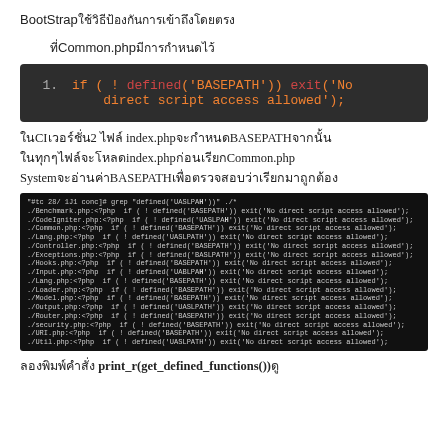BootStrapใช้วิธีป้องกันการเข้าถึงโดยตรง
ที่Common.phpมีการกำหนดไว้
[Figure (screenshot): Code block showing: if ( ! defined('BASEPATH')) exit('No direct script access allowed');]
ในCI เวอร์ชั่น2 ไฟล์ index.phpจะกำหนดBASEPATHจากนั้นในทุกๆไฟล์จะโหลดindex.phpก่อนเรียกCommon.php System จะอ่านค่าBASEPATHเพื่อตรวจสอบว่าเรียกมาถูกต้อง
[Figure (screenshot): Terminal output showing grep results for defined('BASEPATH') across multiple PHP files]
ลองพิมพ์คำสั่ง print_r(get_defined_functions())ดู